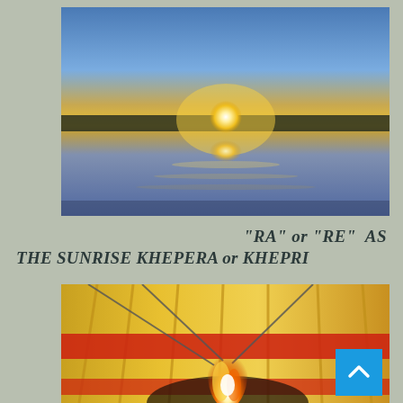[Figure (photo): Sunrise over a calm lake or water body, sun reflected in still water, silhouette of trees on horizon, blue sky above]
"RA" or "RE"  AS THE SUNRISE KHEPERA or KHEPRI
[Figure (photo): Interior view of a hot air balloon with yellow and red striped fabric illuminated by a large flame burner below]